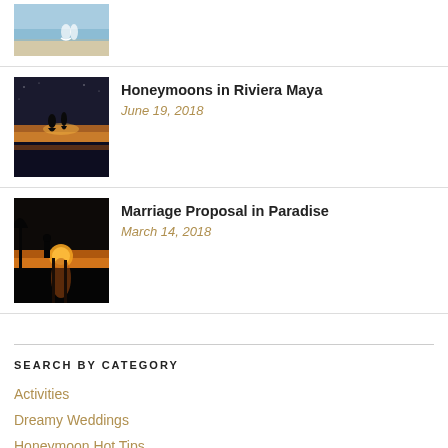[Figure (photo): Partial thumbnail of a beach wedding couple at the top of the page]
[Figure (photo): Couple silhouetted on a beach at sunset, golden light behind them]
Honeymoons in Riviera Maya
June 19, 2018
[Figure (photo): Sunset over water with orange sky and reflection, dock or pier visible]
Marriage Proposal in Paradise
March 14, 2018
SEARCH BY CATEGORY
Activities
Dreamy Weddings
Honeymoon Hot Tips
Lavish Love Tips
Loved-Up Getaways